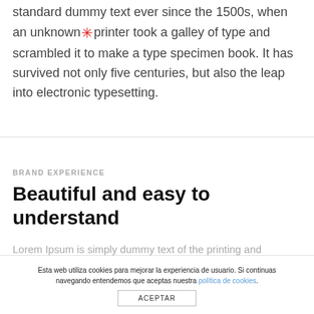standard dummy text ever since the 1500s, when an unknown printer took a galley of type and scrambled it to make a type specimen book. It has survived not only five centuries, but also the leap into electronic typesetting.
BRAND EXPERIENCE
Beautiful and easy to understand
Lorem Ipsum is simply dummy text of the printing and
Esta web utiliza cookies para mejorar la experiencia de usuario. Si continuas navegando entendemos que aceptas nuestra política de cookies.